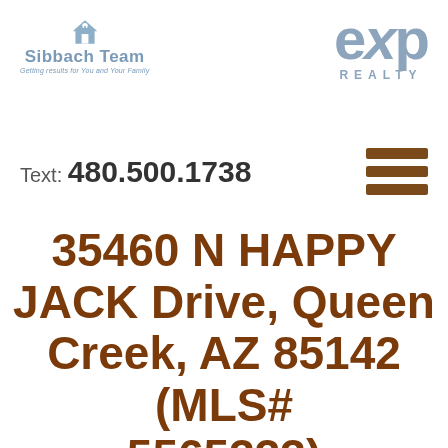[Figure (logo): Sibbach Team logo with house icon, blue-grey text reading 'Sibbach Team' and tagline 'Getting results for You and Your Family']
[Figure (logo): eXp Realty logo in blue-grey with large 'eXp' text and 'REALTY' below]
Text: 480.500.1738
[Figure (other): Hamburger menu icon with three brown horizontal bars]
35460 N HAPPY JACK Drive, Queen Creek, AZ 85142 (MLS# 5565333)